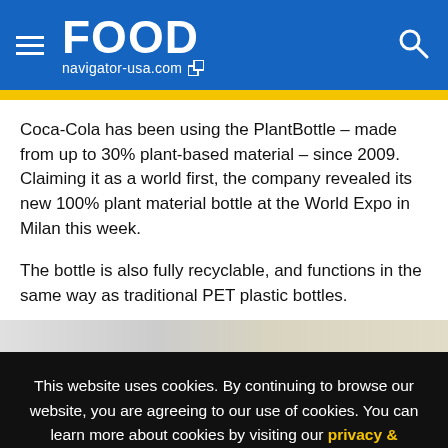FOOD navigator-usa.com
Coca-Cola has been using the PlantBottle – made from up to 30% plant-based material – since 2009. Claiming it as a world first, the company revealed its new 100% plant material bottle at the World Expo in Milan this week.
The bottle is also fully recyclable, and functions in the same way as traditional PET plastic bottles.
[Figure (photo): Partial view of a bottle image strip]
This website uses cookies. By continuing to browse our website, you are agreeing to our use of cookies. You can learn more about cookies by visiting our privacy & cookies policy page.
I Agree